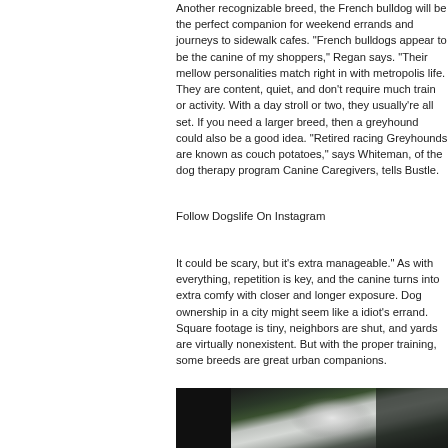Another recognizable breed, the French bulldog will be the perfect companion for weekend errands and journeys to sidewalk cafes. "French bulldogs appear to be the canine of my shoppers," Regan says. "Their mellow personalities match right in with metropolis life. They are content, quiet, and don't require much train or activity. With a day stroll or two, they usually're all set. If you need a larger breed, then a greyhound could also be a good idea. "Retired racing Greyhounds are known as couch potatoes," says Whiteman, of the dog therapy program Canine Caregivers, tells Bustle.
Follow Dogslife On Instagram
It could be scary, but it's extra manageable." As with everything, repetition is key, and the canine turns into extra comfy with closer and longer exposure. Dog ownership in a city might seem like a idiot's errand. Square footage is tiny, neighbors are shut, and yards are virtually nonexistent. But with the proper training, some breeds are great urban companions.
[Figure (photo): A blurred close-up photo showing a white flower or plant with dark green succulent leaves in the background, moody dark tones with bokeh effect]